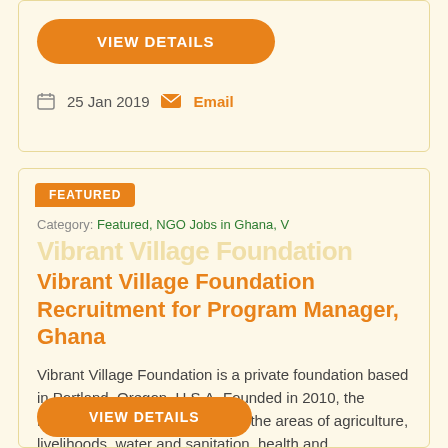VIEW DETAILS
25 Jan 2019  Email
FEATURED
Category: Featured, NGO Jobs in Ghana, V
Vibrant Village Foundation Recruitment for Program Manager, Ghana
Vibrant Village Foundation is a private foundation based in Portland, Oregon, U.S.A. Founded in 2010, the Foundation supports projects in the areas of agriculture, livelihoods, water and sanitation, health and.....
VIEW DETAILS